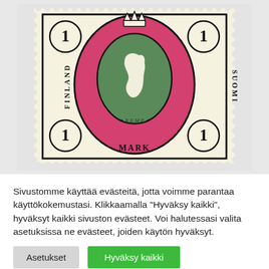[Figure (photo): Close-up photograph of a Finnish postage stamp, 1 Mark denomination. The stamp shows 'FINLAND SUOMI' text on the sides, a central oval with pink/red background containing the Finnish lion coat of arms on a green oval center. Four corner circles each show the numeral '1'. 'MARK' text appears at the bottom. The stamp has perforated edges.]
Sivustomme käyttää evästeitä, jotta voimme parantaa käyttökokemustasi. Klikkaamalla "Hyväksy kaikki", hyväksyt kaikki sivuston evästeet. Voi halutessasi valita asetuksissa ne evästeet, joiden käytön hyväksyt.